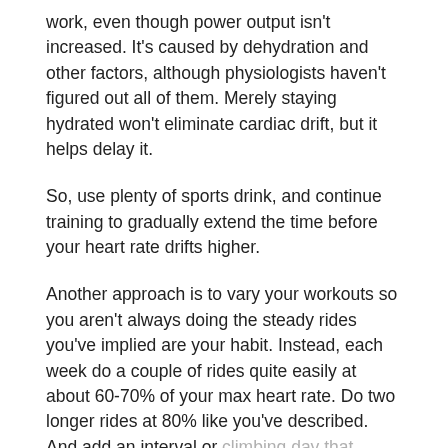work, even though power output isn't increased. It's caused by dehydration and other factors, although physiologists haven't figured out all of them. Merely staying hydrated won't eliminate cardiac drift, but it helps delay it.
So, use plenty of sports drink, and continue training to gradually extend the time before your heart rate drifts higher.
Another approach is to vary your workouts so you aren't always doing the steady rides you've implied are your habit. Instead, each week do a couple of rides quite easily at about 60-70% of your max heart rate. Do two longer rides at 80% like you've described. And add an interval or climbing day that raises your heart rate to 90% or higher for short periods, alternated with easy cruising for